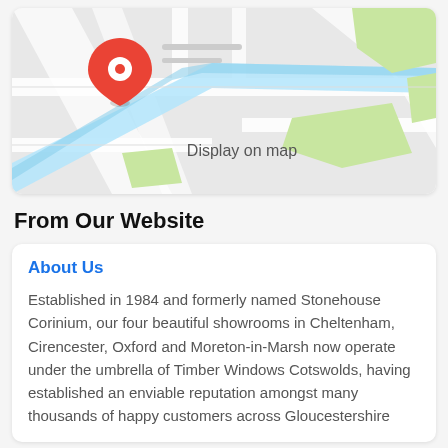[Figure (map): Google Maps-style street map showing roads, a river (light blue), green park areas, and a red location pin marker near the top-left. Text 'Display on map' appears in the center of the map.]
From Our Website
About Us
Established in 1984 and formerly named Stonehouse Corinium, our four beautiful showrooms in Cheltenham, Cirencester, Oxford and Moreton-in-Marsh now operate under the umbrella of Timber Windows Cotswolds, having established an enviable reputation amongst many thousands of happy customers across Gloucestershire